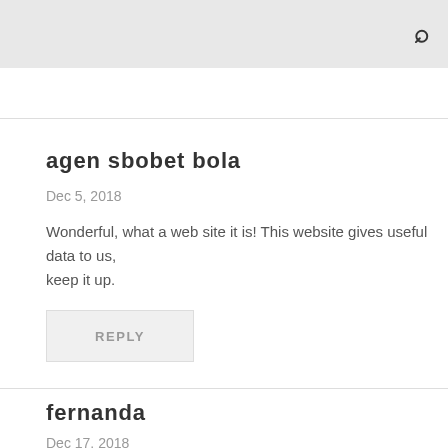agen sbobet bola
Dec 5, 2018
Wonderful, what a web site it is! This website gives useful data to us,
keep it up.
REPLY
fernanda
Dec 17, 2018